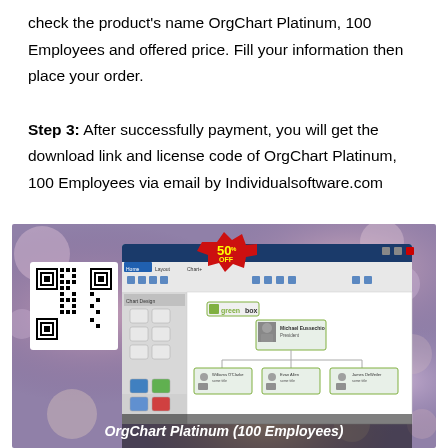check the product's name OrgChart Platinum, 100 Employees and offered price. Fill your information then place your order.
Step 3: After successfully payment, you will get the download link and license code of OrgChart Platinum, 100 Employees via email by Individualsoftware.com
[Figure (screenshot): Screenshot of OrgChart Platinum (100 Employees) software interface with a 50% OFF badge and a QR code on the left. The software shows an organizational chart with greenbox branding and employee photos. Text at bottom reads 'OrgChart Platinum (100 Employees)'.]